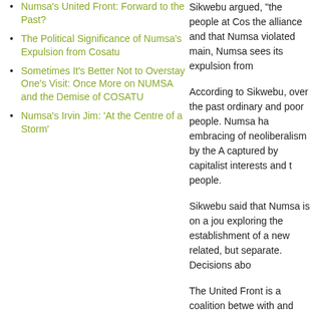Numsa's United Front: Forward to the Past?
The Political Significance of Numsa's Expulsion from Cosatu
Sometimes It's Better Not to Overstay One's Visit: Once More on NUMSA and the Demise of COSATU
Numsa's Irvin Jim: 'At the Centre of a Storm'
Sikwebu argued, "the people at Cos- the alliance and that Numsa violated main, Numsa sees its expulsion from
According to Sikwebu, over the past ordinary and poor people. Numsa ha embracing of neoliberalism by the A captured by capitalist interests and t people.
Sikwebu said that Numsa is on a jou exploring the establishment of a new related, but separate. Decisions abo
The United Front is a coalition betwe with and between these groups, but based on joint campaigns.
Sikwebu explained that the issue of communities given that 70% of peop campaign has already been mobilise
According to Sikwebu, there has bee members are unable to ensure that t